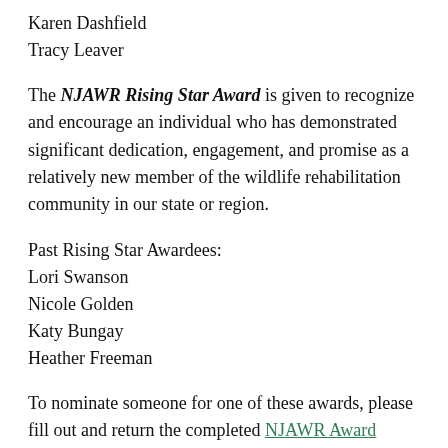Karen Dashfield
Tracy Leaver
The NJAWR Rising Star Award is given to recognize and encourage an individual who has demonstrated significant dedication, engagement, and promise as a relatively new member of the wildlife rehabilitation community in our state or region.
Past Rising Star Awardees:
Lori Swanson
Nicole Golden
Katy Bungay
Heather Freeman
To nominate someone for one of these awards, please fill out and return the completed NJAWR Award Nomination Form to: